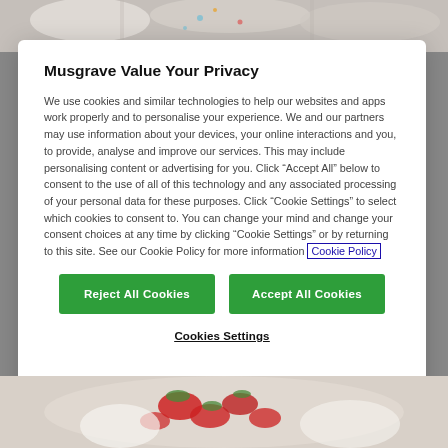[Figure (photo): Food photos visible at the top of the page behind the modal dialog]
Musgrave Value Your Privacy
We use cookies and similar technologies to help our websites and apps work properly and to personalise your experience. We and our partners may use information about your devices, your online interactions and you, to provide, analyse and improve our services. This may include personalising content or advertising for you. Click “Accept All” below to consent to the use of all of this technology and any associated processing of your personal data for these purposes. Click “Cookie Settings” to select which cookies to consent to. You can change your mind and change your consent choices at any time by clicking “Cookie Settings” or by returning to this site. See our Cookie Policy for more information Cookie Policy
Reject All Cookies
Accept All Cookies
Cookies Settings
[Figure (photo): Food photos visible at the bottom of the page behind the modal dialog — strawberries and cream dessert]